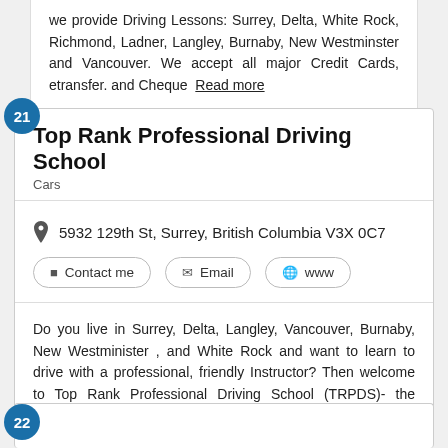we provide Driving Lessons: Surrey, Delta, White Rock, Richmond, Ladner, Langley, Burnaby, New Westminster and Vancouver. We accept all major Credit Cards, etransfer. and Cheque  Read more
Top Rank Professional Driving School
Cars
5932 129th St, Surrey, British Columbia V3X 0C7
Contact me
Email
www
Do you live in Surrey, Delta, Langley, Vancouver, Burnaby, New Westminister , and White Rock and want to learn to drive with a professional, friendly Instructor? Then welcome to Top Rank Professional Driving School (TRPDS)- the Driving School with standards.  Read more